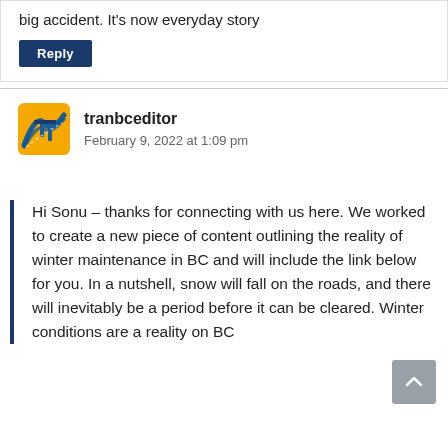big accident. It's now everyday story
Reply
tranbceditor
February 9, 2022 at 1:09 pm
Hi Sonu – thanks for connecting with us here. We worked to create a new piece of content outlining the reality of winter maintenance in BC and will include the link below for you. In a nutshell, snow will fall on the roads, and there will inevitably be a period before it can be cleared. Winter conditions are a reality on BC